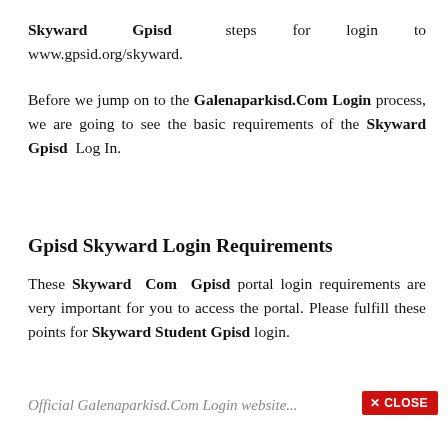Skyward Gpisd steps for login to www.gpsid.org/skyward.
Before we jump on to the Galenaparkisd.Com Login process, we are going to see the basic requirements of the Skyward Gpisd Log In.
Gpisd Skyward Login Requirements
These Skyward Com Gpisd portal login requirements are very important for you to access the portal. Please fulfill these points for Skyward Student Gpisd login.
Official Galenaparkisd.Com Login website...